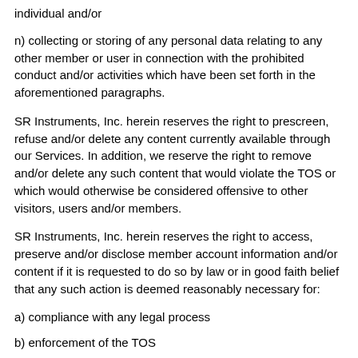individual​ and/or
n) collecting or storing of any personal data relating to any other member or user in connection with the prohibited conduct and/or activities which have been set forth in the aforementioned paragraphs.
SR Instruments, Inc. herein reserves the right to prescreen, refuse and/or delete any content currently available through our Services. In addition, we reserve the right to remove and/or delete any such content that would violate the TOS or which would otherwise be considered offensive to other visitors, users and/or members.
SR Instruments, Inc. herein reserves the right to access, preserve and/or disclose member account information and/or content if it is requested to do so by law or in good faith belief that any such action is deemed reasonably necessary for:
a) compliance with any legal process
b) enforcement of the TOS
c) responding to any claim that therein contained content is in violation of the rights of any third party
d) responding to requests for customer service or